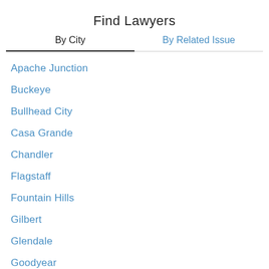Find Lawyers
By City
By Related Issue
Apache Junction
Buckeye
Bullhead City
Casa Grande
Chandler
Flagstaff
Fountain Hills
Gilbert
Glendale
Goodyear